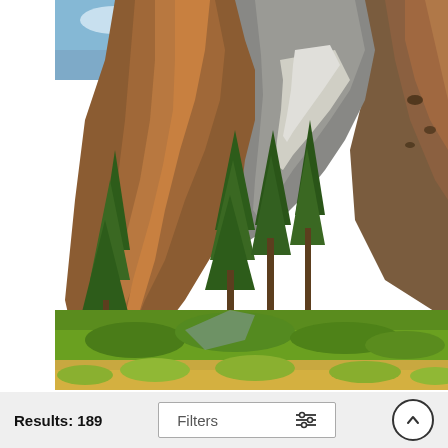[Figure (photo): Bandelier Formations canyon landscape photo showing red rock cliffs, green trees, and shrubs below the cliffs in Los Alamos, New Mexico]
Bandelier Formations Los Alamos Print
Santa Fe
$22
[Figure (photo): Close-up photo of a yellow-green plant/flower with purple/blue blurred background]
Results: 189
Filters